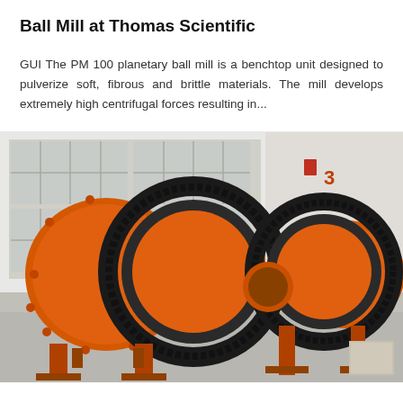Ball Mill at Thomas Scientific
GUI The PM 100 planetary ball mill is a benchtop unit designed to pulverize soft, fibrous and brittle materials. The mill develops extremely high centrifugal forces resulting in...
[Figure (photo): Photograph of a large industrial orange ball mill machine with cylindrical drum, large black gear rings/sprockets, and bolted flanges, set inside a factory/warehouse with large windows in the background. The mill is mounted on a metal frame on a concrete floor.]